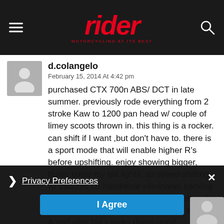rider — MOTORCYCLING AT ITS BEST
d.colangelo
February 15, 2014 At 4:42 pm
purchased CTX 700n ABS/ DCT in late summer. previously rode everything from 2 stroke Kaw to 1200 pan head w/ couple of limey scoots thrown in. this thing is a rocker. can shift if I want ,but don't have to. there is a sport mode that will enable higher R's before upshifting. enjoy showing bigger, faster bikes my tail lights, as speed shifting w/ paddles on handlebar eliminates backing off to change gears. VG handling/braking for stock suspension. going to up grade skins to A and alter tail s looks damn good
Privacy Preferences
I Agree